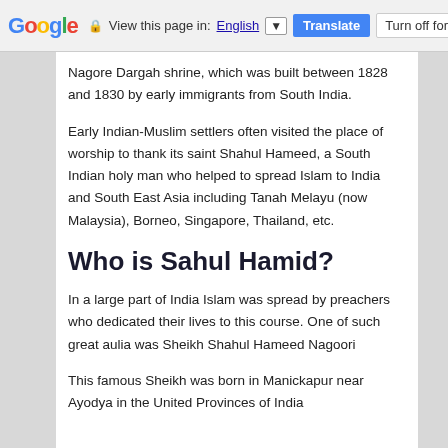Google — View this page in: English [▼] Translate  Turn off for: M
Nagore Dargah shrine, which was built between 1828 and 1830 by early immigrants from South India.
Early Indian-Muslim settlers often visited the place of worship to thank its saint Shahul Hameed, a South Indian holy man who helped to spread Islam to India and South East Asia including Tanah Melayu (now Malaysia), Borneo, Singapore, Thailand, etc.
Who is Sahul Hamid?
In a large part of India Islam was spread by preachers who dedicated their lives to this course. One of such great aulia was Sheikh Shahul Hameed Nagoori
This famous Sheikh was born in Manickapur near Ayodya in the United Provinces of India